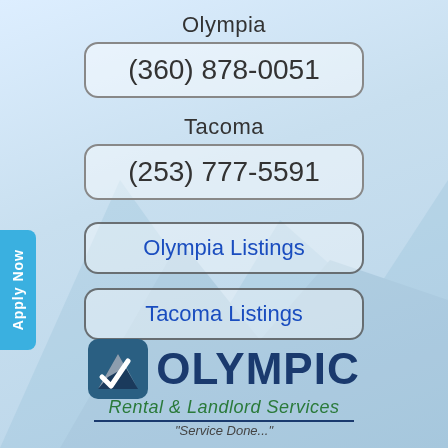Olympia
(360) 878-0051
Tacoma
(253) 777-5591
Olympia Listings
Tacoma Listings
Apply Now
[Figure (logo): Olympic Rental & Landlord Services logo with mountain icon, large OLYMPIC text in dark blue, tagline in green italic, and a divider line.]